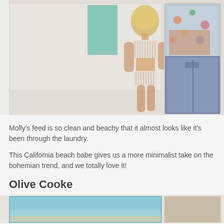[Figure (photo): Two fashion photos side by side: main photo shows a blonde woman in a ribbed pale pink bikini posing against a white wall with turquoise door/window; right photo shows partial view of a person in tropical print top and denim jeans]
Molly's feed is so clean and beachy that it almost looks like it's been through the laundry.
This California beach babe gives us a more minimalist take on the bohemian trend, and we totally love it!
Olive Cooke
[Figure (photo): Two partial fashion photos at bottom of page, cut off]